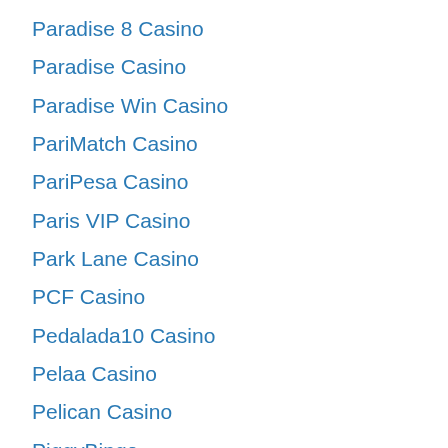Paradise 8 Casino
Paradise Casino
Paradise Win Casino
PariMatch Casino
PariPesa Casino
Paris VIP Casino
Park Lane Casino
PCF Casino
Pedalada10 Casino
Pelaa Casino
Pelican Casino
PiggyBingo
Pino Casino
Pioneer Slots Casino
PiratePlay Casino